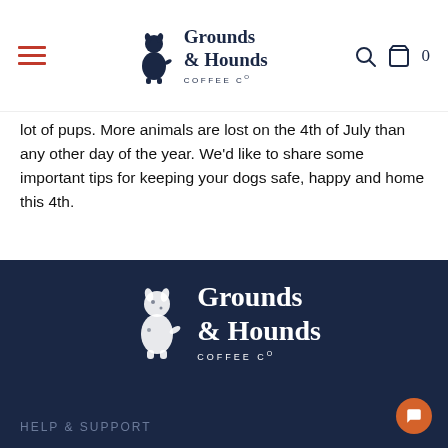Grounds & Hounds Coffee Co — navigation bar with hamburger menu, logo, search and cart icons
lot of pups. More animals are lost on the 4th of July than any other day of the year. We'd like to share some important tips for keeping your dogs safe, happy and home this 4th.
READ MORE
[Figure (logo): Grounds & Hounds Coffee Co logo in white on dark navy background, featuring a sitting Dalmatian dog illustration]
HELP & SUPPORT